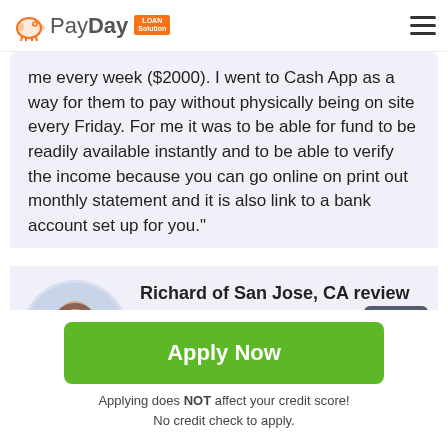PayDay Loan Solution
me every week ($2000). I went to Cash App as a way for them to pay without physically being on site every Friday. For me it was to be able for fund to be readily available instantly and to be able to verify the income because you can go online on print out monthly statement and it is also link to a bank account set up for you."
Richard of San Jose, CA review
13 days ago
4.1/5
"I had filled out a request for a short term
Apply Now
Applying does NOT affect your credit score!
No credit check to apply.